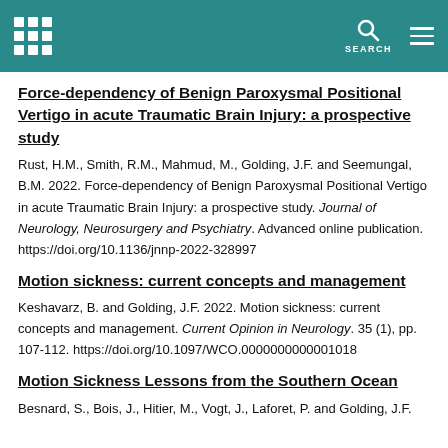SEARCH
Force-dependency of Benign Paroxysmal Positional Vertigo in acute Traumatic Brain Injury: a prospective study
Rust, H.M., Smith, R.M., Mahmud, M., Golding, J.F. and Seemungal, B.M. 2022. Force-dependency of Benign Paroxysmal Positional Vertigo in acute Traumatic Brain Injury: a prospective study. Journal of Neurology, Neurosurgery and Psychiatry. Advanced online publication. https://doi.org/10.1136/jnnp-2022-328997
Motion sickness: current concepts and management
Keshavarz, B. and Golding, J.F. 2022. Motion sickness: current concepts and management. Current Opinion in Neurology. 35 (1), pp. 107-112. https://doi.org/10.1097/WCO.0000000000001018
Motion Sickness Lessons from the Southern Ocean
Besnard, S., Bois, J., Hitier, M., Vogt, J., Laforet, P. and Golding, J.F.